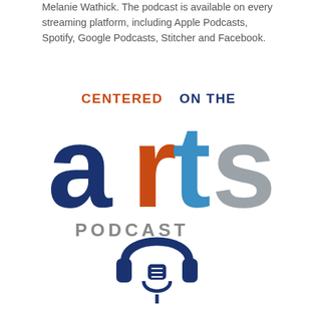Melanie Wathick. The podcast is available on every streaming platform, including Apple Podcasts, Spotify, Google Podcasts, Stitcher and Facebook.
[Figure (logo): Centered on the Arts Podcast logo with colorful text and headphone/microphone icon]